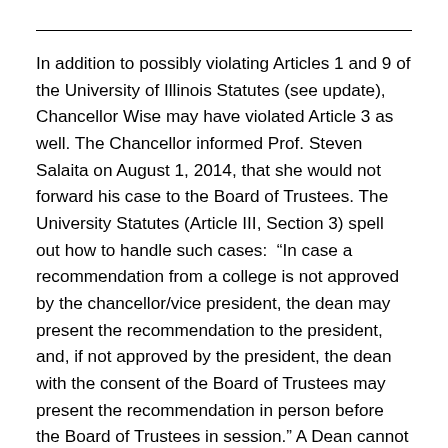In addition to possibly violating Articles 1 and 9 of the University of Illinois Statutes (see update), Chancellor Wise may have violated Article 3 as well. The Chancellor informed Prof. Steven Salaita on August 1, 2014, that she would not forward his case to the Board of Trustees. The University Statutes (Article III, Section 3) spell out how to handle such cases:  “In case a recommendation from a college is not approved by the chancellor/vice president, the dean may present the recommendation to the president, and, if not approved by the president, the dean with the consent of the Board of Trustees may present the recommendation in person before the Board of Trustees in session.” A Dean cannot exercise this